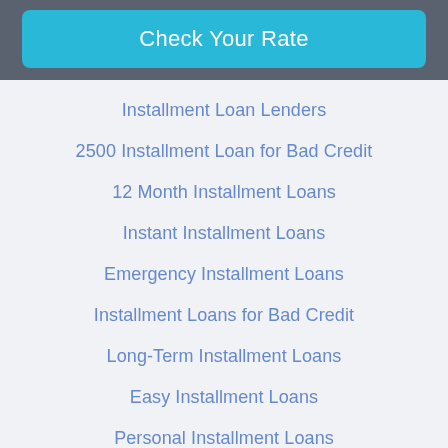Check Your Rate
Installment Loan Lenders
2500 Installment Loan for Bad Credit
12 Month Installment Loans
Instant Installment Loans
Emergency Installment Loans
Installment Loans for Bad Credit
Long-Term Installment Loans
Easy Installment Loans
Personal Installment Loans
Installment Loans Direct Lenders